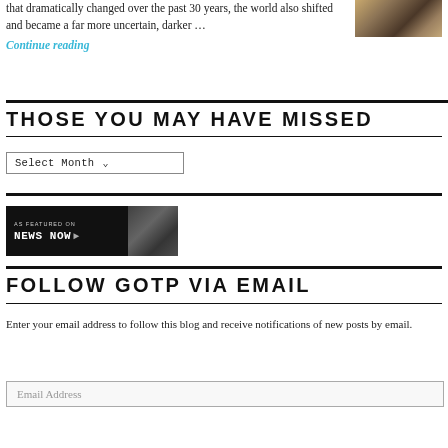that dramatically changed over the past 30 years, the world also shifted and became a far more uncertain, darker …
Continue reading
THOSE YOU MAY HAVE MISSED
Select Month
[Figure (logo): News Now banner: 'AS FEATURED ON NEWS NOW >' logo on dark background]
FOLLOW GOTP VIA EMAIL
Enter your email address to follow this blog and receive notifications of new posts by email.
Email Address